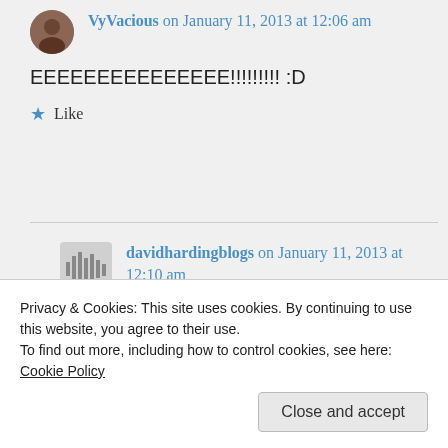VyVacious on January 11, 2013 at 12:06 am
EEEEEEEEEEEEEEE!!!!!!!!! :D
Like
davidhardingblogs on January 11, 2013 at 12:10 am
Ooooooohhhhh!
Privacy & Cookies: This site uses cookies. By continuing to use this website, you agree to their use.
To find out more, including how to control cookies, see here: Cookie Policy
Close and accept